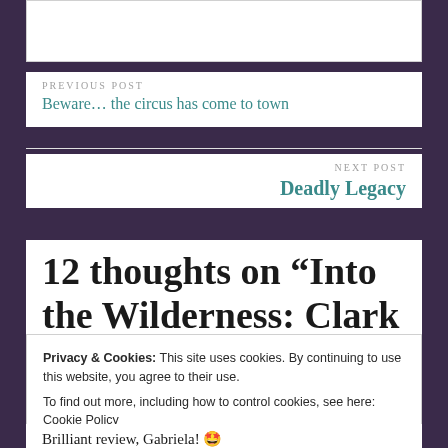PREVIOUS POST
Beware… the circus has come to town
NEXT POST
Deadly Legacy
12 thoughts on “Into the Wilderness: Clark Gable in
Privacy & Cookies: This site uses cookies. By continuing to use this website, you agree to their use. To find out more, including how to control cookies, see here: Cookie Policy
Close and accept
Brilliant review, Gabriela! 🤩